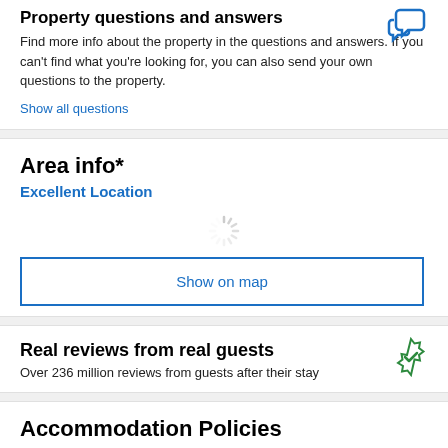Property questions and answers
Find more info about the property in the questions and answers. If you can't find what you're looking for, you can also send your own questions to the property.
Show all questions
Area info*
Excellent Location
[Figure (other): Loading spinner graphic]
Show on map
Real reviews from real guests
Over 236 million reviews from guests after their stay
Accommodation Policies